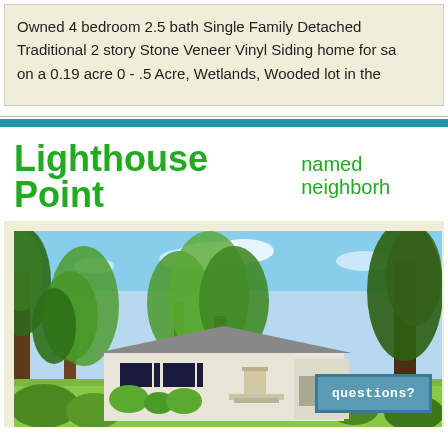Owned 4 bedroom 2.5 bath Single Family Detached Traditional 2 story Stone Veneer Vinyl Siding home for sa on a 0.19 acre 0 - .5 Acre, Wetlands, Wooded lot in the
Lighthouse Point named neighborh
[Figure (photo): Exterior photo of a single-family ranch-style home surrounded by large mature trees with lush green foliage. The house has a white/light colored exterior with dark shutters and a front porch. A 'questions?' button overlay appears in the bottom right corner.]